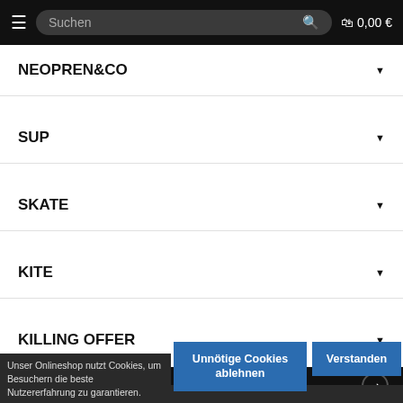≡  Suchen 🔍  🛒 0,00 €
NEOPREN&CO ▼
SUP ▼
SKATE ▼
KITE ▼
KILLING OFFER ▼
Killing Offer ➡
Unser Onlineshop nutzt Cookies, um Besuchern die beste Nutzererfahrung zu garantieren.
Unnötige Cookies ablehnen
Verstanden